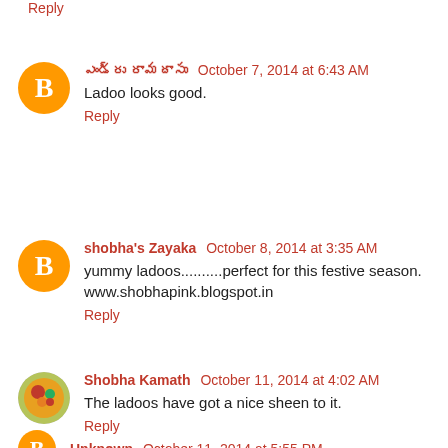Reply
ఎండ్రు రామదాసు  October 7, 2014 at 6:43 AM
Ladoo looks good.
Reply
shobha's Zayaka  October 8, 2014 at 3:35 AM
yummy ladoos..........perfect for this festive season.
www.shobhapink.blogspot.in
Reply
Shobha Kamath  October 11, 2014 at 4:02 AM
The ladoos have got a nice sheen to it.
Reply
Unknown  October 11, 2014 at 5:55 PM